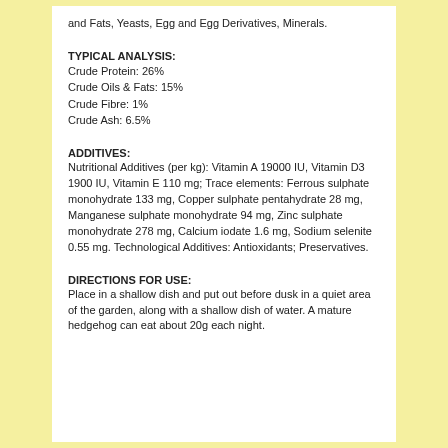and Fats, Yeasts, Egg and Egg Derivatives, Minerals.
TYPICAL ANALYSIS:
Crude Protein: 26%
Crude Oils & Fats: 15%
Crude Fibre: 1%
Crude Ash: 6.5%
ADDITIVES:
Nutritional Additives (per kg): Vitamin A 19000 IU, Vitamin D3 1900 IU, Vitamin E 110 mg; Trace elements: Ferrous sulphate monohydrate 133 mg, Copper sulphate pentahydrate 28 mg, Manganese sulphate monohydrate 94 mg, Zinc sulphate monohydrate 278 mg, Calcium iodate 1.6 mg, Sodium selenite 0.55 mg. Technological Additives: Antioxidants; Preservatives.
DIRECTIONS FOR USE:
Place in a shallow dish and put out before dusk in a quiet area of the garden, along with a shallow dish of water. A mature hedgehog can eat about 20g each night.